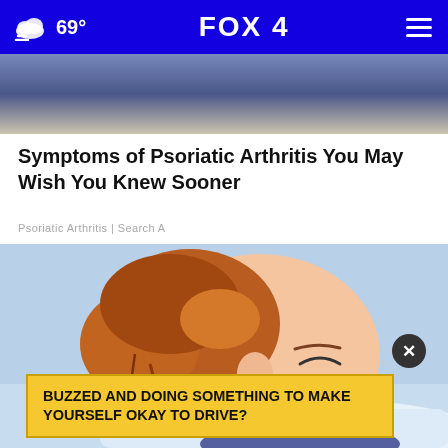FOX 4 | 69° weather navigation bar
[Figure (photo): Top portion of a photo showing a person in dark blue pants from waist down, white background, partially cropped]
Symptoms of Psoriatic Arthritis You May Wish You Knew Sooner
Psoriatic Arthritis | Search A
[Figure (illustration): Cartoon/comic-style illustration of a person with auburn hair lying down sleeping on a white pillow, with red lipstick, eyes closed. An advertisement banner overlay reads: BUZZED AND DOING SOMETHING TO MAKE YOURSELF OKAY TO DRIVE? with a close (X) button.]